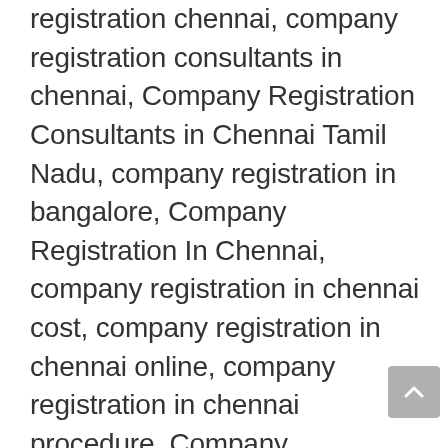registration chennai, company registration consultants in chennai, Company Registration Consultants in Chennai Tamil Nadu, company registration in bangalore, Company Registration In Chennai, company registration in chennai cost, company registration in chennai online, company registration in chennai procedure, Company Registration in India, company registration office chennai, company registration office chennai contact number, company registration online, Company Registration Online in Chennai, company registration process in chennai, Company Registration Requirements, Company Registration Service